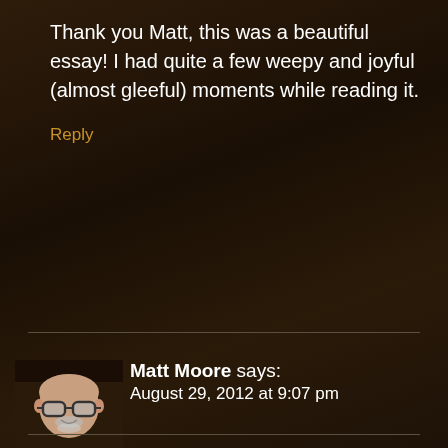Thank you Matt, this was a beautiful essay! I had quite a few weepy and joyful (almost gleeful) moments while reading it.
Reply
Matt Moore says:
August 29, 2012 at 9:07 pm
[Figure (photo): Profile photo of Matt Moore, a bald man with glasses]
Then you need to watch this:
http://www.youtube.com/watch?v=IIQQOPkXTwc
Reply